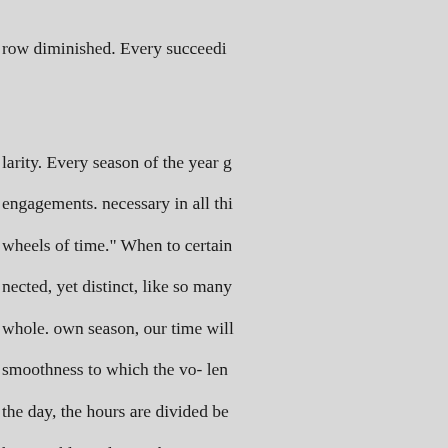row diminished. Every succeeding larity. Every season of the year g engagements. necessary in all thi wheels of time." When to certain nected, yet distinct, like so many whole. own season, our time will smoothness to which the vo- len the day, the hours are divided be honourable ried away by every g for amusement or em- of the bod Nor are the darksome watches of purtheir hands in idle expectatio our most reflect on the events of repose requisite to renew to such our faculties for the present, and satisfaction. Let adequate portion body and mind are preserved in i unconditions, because these con fanciful charms of unforeseen di ends wrapt up in the veiled with very reason. Certainly it is to the conveniently Thus day rolls on a